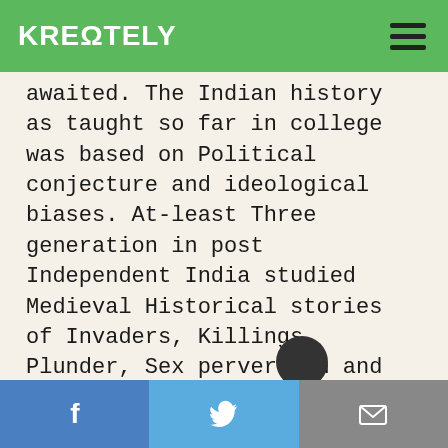KREΩTELY
awaited. The Indian history as taught so far in college was based on Political conjecture and ideological biases. At-least Three generation in post Independent India studied Medieval Historical stories of Invaders, Killings, Plunder, Sex perversion and King`s Harem. Concocted stories drawn from court poets of Mughal and were handed down as History books.
No study on administration, Society and Civilizational value were inscribed. Archeological findings, Art and coins specially related to ancient India were willfully ignored. And anything even remotely related to Vedic t... Saraswati Civilization...